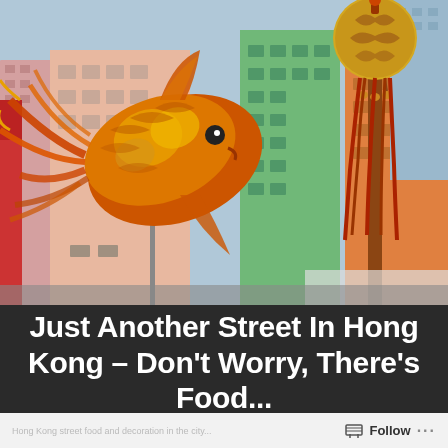[Figure (photo): Street scene in Hong Kong showing colorful buildings (pink, orange, green, blue-grey) with a large decorative golden fish lantern/sculpture in the foreground left and a round lantern on a pole on the right, set against an urban backdrop.]
Just Another Street In Hong Kong – Don't Worry, There's Food...
Follow